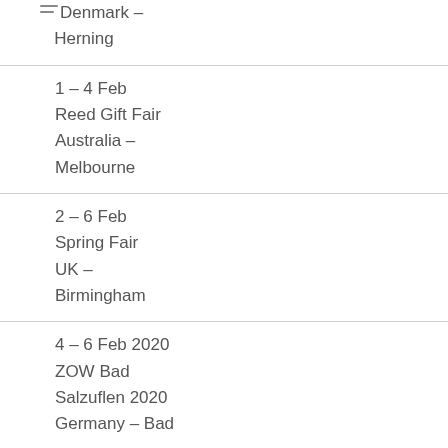Denmark – Herning
1 – 4 Feb
Reed Gift Fair
Australia – Melbourne
2 – 6 Feb
Spring Fair
UK – Birmingham
4 – 6 Feb 2020
ZOW Bad Salzuflen 2020
Germany – Bad